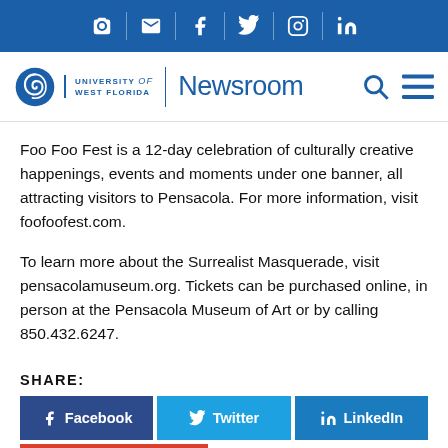University of West Florida Newsroom – social/nav bar
Foo Foo Fest is a 12-day celebration of culturally creative happenings, events and moments under one banner, all attracting visitors to Pensacola. For more information, visit foofoofest.com.
To learn more about the Surrealist Masquerade, visit pensacolamuseum.org. Tickets can be purchased online, in person at the Pensacola Museum of Art or by calling 850.432.6247.
SHARE:
Facebook
Twitter
LinkedIn
Email